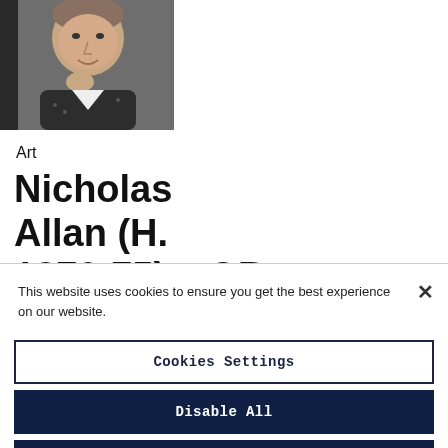[Figure (photo): Headshot photograph of a middle-aged man, smiling, resting his hand near his chin, against a dark background.]
Art
Nicholas Allan (H. 1970-75) – OB
This website uses cookies to ensure you get the best experience on our website.
Cookies Settings
Disable All
Allow All